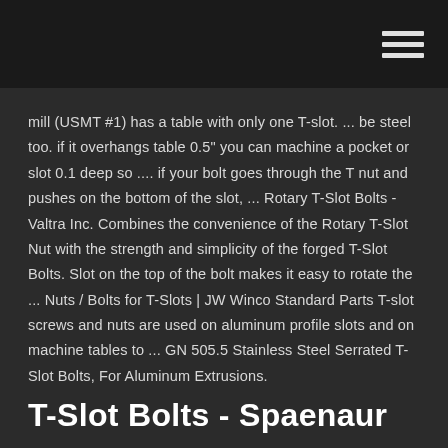[Figure (other): Navigation hamburger menu icon (three horizontal white lines) in top-right corner on dark background header bar]
mill (USMT #1) has a table with only one T-slot. ... be steel too. if it overhangs table 0.5" you can machine a pocket or slot 0.1 deep so .... if your bolt goes through the T nut and pushes on the bottom of the slot, ... Rotary T-Slot Bolts - Valtra Inc. Combines the convenience of the Rotary T-Slot Nut with the strength and simplicity of the forged T-Slot Bolts. Slot on the top of the bolt makes it easy to rotate the ... Nuts / Bolts for T-Slots | JW Winco Standard Parts T-slot screws and nuts are used on aluminum profile slots and on machine tables to ... GN 505.5 Stainless Steel Serrated T-Slot Bolts, For Aluminum Extrusions.
T-Slot Bolts - Spaenaur